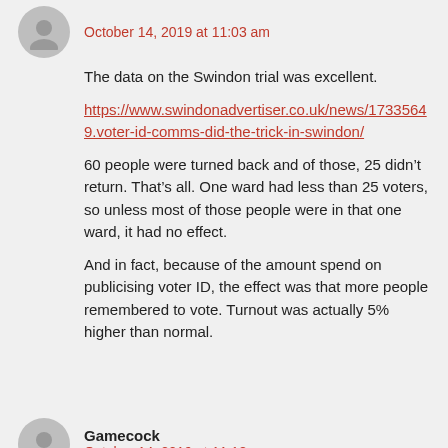October 14, 2019 at 11:03 am
The data on the Swindon trial was excellent.
https://www.swindonadvertiser.co.uk/news/17335649.voter-id-comms-did-the-trick-in-swindon/
60 people were turned back and of those, 25 didn’t return. That’s all. One ward had less than 25 voters, so unless most of those people were in that one ward, it had no effect.
And in fact, because of the amount spend on publicising voter ID, the effect was that more people remembered to vote. Turnout was actually 5% higher than normal.
Gamecock
October 14, 2019 at 11:18 am